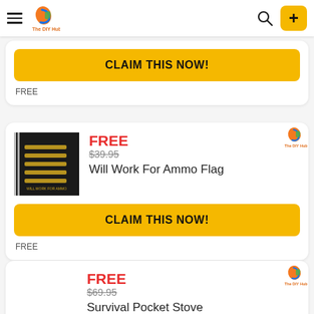The DIY Hub
[Figure (screenshot): CLAIM THIS NOW! button (yellow, partial card top)]
FREE
[Figure (photo): Will Work For Ammo Flag product card with image, FREE / $39.95 price, product name, and CLAIM THIS NOW! button]
FREE
[Figure (screenshot): Survival Pocket Stove product card (partial, bottom of page) with FREE / $69.95 price and product name]